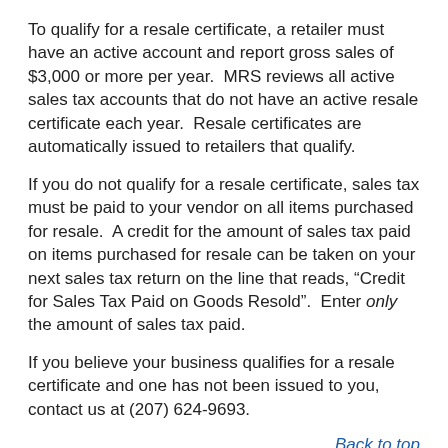To qualify for a resale certificate, a retailer must have an active account and report gross sales of $3,000 or more per year. MRS reviews all active sales tax accounts that do not have an active resale certificate each year. Resale certificates are automatically issued to retailers that qualify.
If you do not qualify for a resale certificate, sales tax must be paid to your vendor on all items purchased for resale. A credit for the amount of sales tax paid on items purchased for resale can be taken on your next sales tax return on the line that reads, “Credit for Sales Tax Paid on Goods Resold”. Enter only the amount of sales tax paid.
If you believe your business qualifies for a resale certificate and one has not been issued to you, contact us at (207) 624-9693.
Back to top
How do I know if my customers’ resale certificate is current?